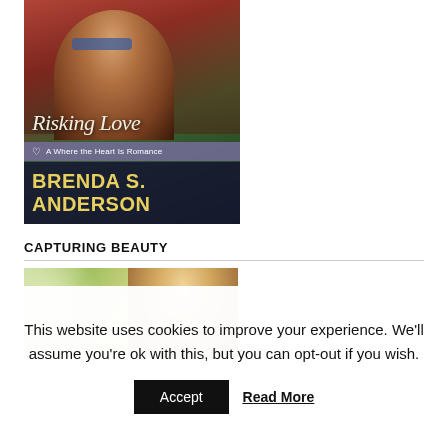[Figure (illustration): Book cover for 'Risking Love' by Brenda S. Anderson, part of the 'A Where the Heart Is Romance' series. Shows a couple, man with sunglasses smiling, woman behind him. Script title text and bold author name on lower portion.]
CAPTURING BEAUTY
[Figure (photo): Partial book cover showing a blonde child or young person with soft outdoor background lighting.]
This website uses cookies to improve your experience. We'll assume you're ok with this, but you can opt-out if you wish.
Accept
Read More